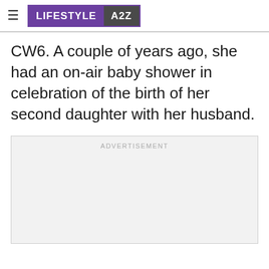LIFESTYLE A2Z
CW6. A couple of years ago, she had an on-air baby shower in celebration of the birth of her second daughter with her husband.
[Figure (other): Advertisement placeholder box with label ADVERTISEMENT]